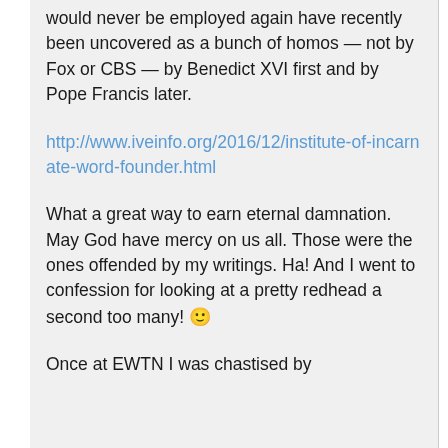would never be employed again have recently been uncovered as a bunch of homos — not by Fox or CBS — by Benedict XVI first and by Pope Francis later.
http://www.iveinfo.org/2016/12/institute-of-incarnate-word-founder.html
What a great way to earn eternal damnation. May God have mercy on us all. Those were the ones offended by my writings. Ha! And I went to confession for looking at a pretty redhead a second too many! 🙂
Once at EWTN I was chastised by